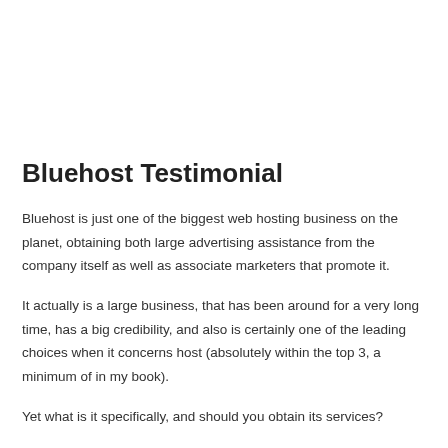Bluehost Testimonial
Bluehost is just one of the biggest web hosting business on the planet, obtaining both large advertising assistance from the company itself as well as associate marketers that promote it.
It actually is a large business, that has been around for a very long time, has a big credibility, and also is certainly one of the leading choices when it concerns host (absolutely within the top 3, a minimum of in my book).
Yet what is it specifically, and should you obtain its services?